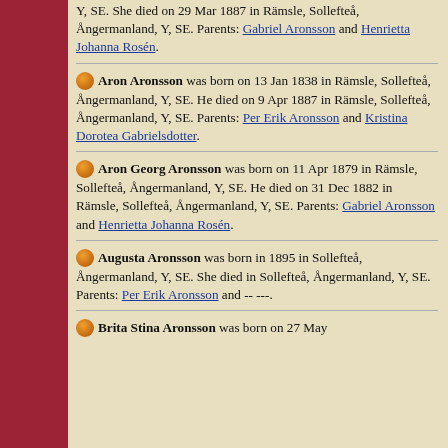Y, SE. She died on 29 Mar 1887 in Rämsle, Sollefteå, Ångermanland, Y, SE. Parents: Gabriel Aronsson and Henrietta Johanna Rosén.
Aron Aronsson was born on 13 Jan 1838 in Rämsle, Sollefteå, Ångermanland, Y, SE. He died on 9 Apr 1887 in Rämsle, Sollefteå, Ångermanland, Y, SE. Parents: Per Erik Aronsson and Kristina Dorotea Gabrielsdotter.
Aron Georg Aronsson was born on 11 Apr 1879 in Rämsle, Sollefteå, Ångermanland, Y, SE. He died on 31 Dec 1882 in Rämsle, Sollefteå, Ångermanland, Y, SE. Parents: Gabriel Aronsson and Henrietta Johanna Rosén.
Augusta Aronsson was born in 1895 in Sollefteå, Ångermanland, Y, SE. She died in Sollefteå, Ångermanland, Y, SE. Parents: Per Erik Aronsson and -- ---.
Brita Stina Aronsson was born on 27 May